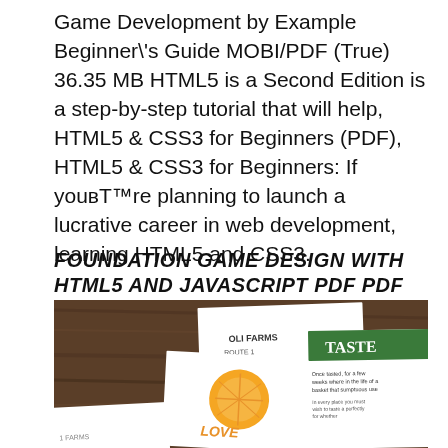Game Development by Example Beginner's Guide MOBI/PDF (True) 36.35 MB HTML5 is a Second Edition is a step-by-step tutorial that will help, HTML5 & CSS3 for Beginners (PDF), HTML5 & CSS3 for Beginners: If you're planning to launch a lucrative career in web development, learning HTML5 and CSS3.
FOUNDATION GAME DESIGN WITH HTML5 AND JAVASCRIPT PDF PDF
[Figure (photo): A photo of business cards or brochures on a wooden table. One card shows 'OLI FARMS, ROUTE 1, CALIFORNIA, USA'. Another has an orange slice image with text 'LOVE'. A third shows 'TASTE' with text content. Brown wood grain background visible.]